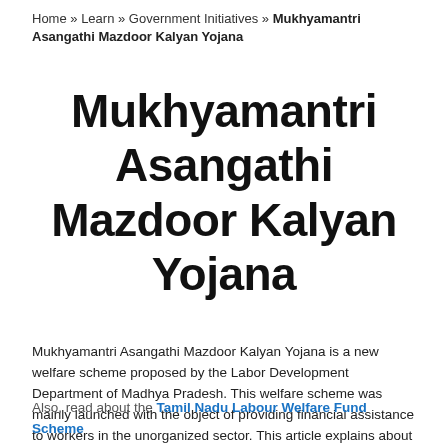Home » Learn » Government Initiatives » Mukhyamantri Asangathi Mazdoor Kalyan Yojana
Mukhyamantri Asangathi Mazdoor Kalyan Yojana
Mukhyamantri Asangathi Mazdoor Kalyan Yojana is a new welfare scheme proposed by the Labor Development Department of Madhya Pradesh. This welfare scheme was mainly launched with the object of providing financial assistance to workers in the unorganized sector. This article explains about the Mukhyamantri Asangathi Mazdoor Kalyan Yojana in detail.
Also, read about the Tamil Nadu Labour Welfare Fund Scheme